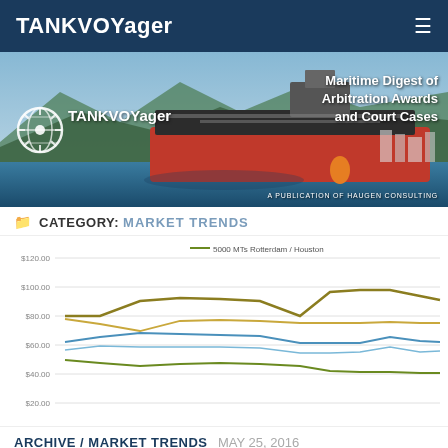TANKVOYager
[Figure (photo): TANKVOYager banner with tanker ship, globe logo, and text: Maritime Digest of Arbitration Awards and Court Cases. A publication of Haugen Consulting.]
CATEGORY: MARKET TRENDS
[Figure (line-chart): Multi-series line chart showing freight rate trends. Y-axis from $20.00 to $120.00. Four lines: dark yellow/olive (~$80-$98), light yellow/gold (~$70-$75), blue (~$55-$65), and green/olive (~$45-$55, declining to ~$40).]
ARCHIVE / MARKET TRENDS MAY 25, 2016